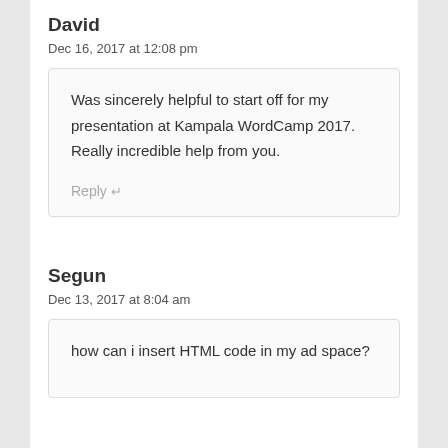David
Dec 16, 2017 at 12:08 pm
Was sincerely helpful to start off for my presentation at Kampala WordCamp 2017. Really incredible help from you. Reply
Segun
Dec 13, 2017 at 8:04 am
how can i insert HTML code in my ad space?